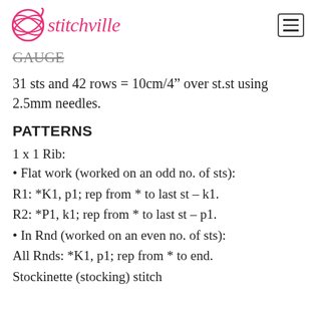stitchville
GAUGE
31 sts and 42 rows = 10cm/4” over st.st using 2.5mm needles.
PATTERNS
1 x 1 Rib:
Flat work (worked on an odd no. of sts):
R1: *K1, p1; rep from * to last st – k1.
R2: *P1, k1; rep from * to last st – p1.
In Rnd (worked on an even no. of sts):
All Rnds: *K1, p1; rep from * to end.
Stockinette (stocking) stitch